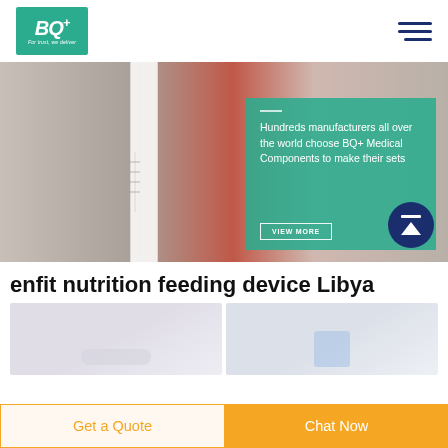[Figure (logo): BQ+ logo with teal background, tagline: For trust, we deliver]
[Figure (photo): Hero banner showing a medical drip/IV chamber close-up with blurred red background and teal overlay box with text]
Hundreds manufacturers all over the world choose BQ+ Medical Components to make their sets
enfit nutrition feeding device Libya
[Figure (photo): Left product thumbnail - enfit nutrition feeding device, light grey background]
[Figure (photo): Right product thumbnail - enfit nutrition feeding device with blue/purple component visible]
Get a Quote
Chat Now